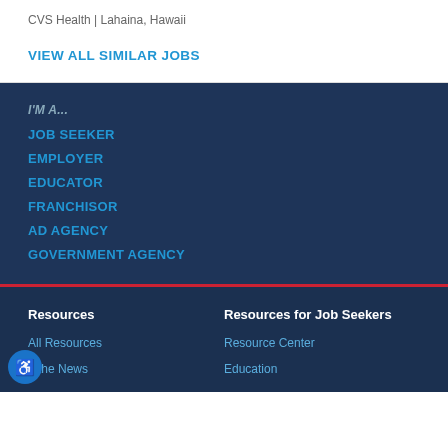CVS Health | Lahaina, Hawaii
VIEW ALL SIMILAR JOBS
I'M A...
JOB SEEKER
EMPLOYER
EDUCATOR
FRANCHISOR
AD AGENCY
GOVERNMENT AGENCY
Resources
Resources for Job Seekers
All Resources
Resource Center
n the News
Education